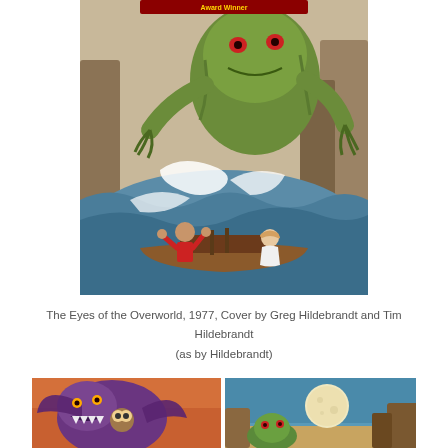[Figure (illustration): Fantasy illustration: a giant green sea monster rising from churning ocean waves, with a man in red gesturing from a wooden boat and a woman in white seated at the back. Rocky cliffs in the background. Book cover art for The Eyes of the Overworld, 1977.]
The Eyes of the Overworld, 1977, Cover by Greg Hildebrandt and Tim Hildebrandt (as by Hildebrandt)
[Figure (illustration): Two fantasy illustrations side by side: left shows a purple dragon/creature with wings against an orange sky; right shows a green creature near a large full moon over rocky desert terrain.]